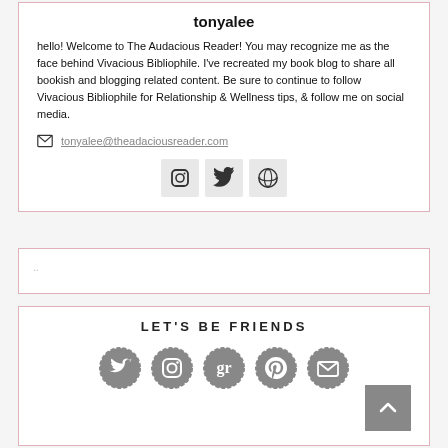tonyalee
hello! Welcome to The Audacious Reader! You may recognize me as the face behind Vivacious Bibliophile. I've recreated my book blog to share all bookish and blogging related content. Be sure to continue to follow Vivacious Bibliophile for Relationship & Wellness tips, & follow me on social media.
tonyalee@theadaciousreader.com
[Figure (infographic): Social media icons: Instagram, Twitter, WordPress]
..
LET'S BE FRIENDS
[Figure (infographic): Social media circle icons: Twitter, Instagram, Goodreads, Pinterest, Email]